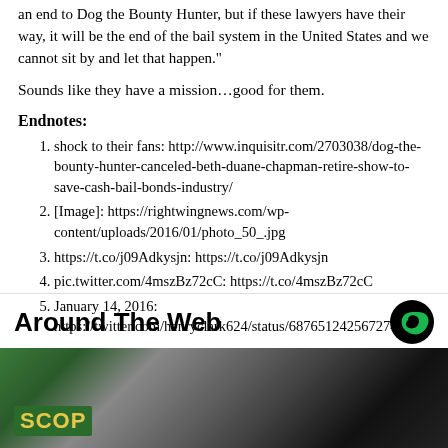an end to Dog the Bounty Hunter, but if these lawyers have their way, it will be the end of the bail system in the United States and we cannot sit by and let that happen.”
Sounds like they have a mission…good for them.
Endnotes:
shock to their fans: http://www.inquisitr.com/2703038/dog-the-bounty-hunter-canceled-beth-duane-chapman-retire-show-to-save-cash-bail-bonds-industry/
[Image]: https://rightwingnews.com/wp-content/uploads/2016/01/photo_50_.jpg
https://t.co/j09Adkysjn: https://t.co/j09Adkysjn
pic.twitter.com/4mszBz72cC: https://t.co/4mszBz72cC
January 14, 2016: https://twitter.com/henryclark624/status/687651242567274496
Around The Web
[Figure (photo): Partial image of a person with a video game or app screen showing 'SCOP' text in yellow on green background]